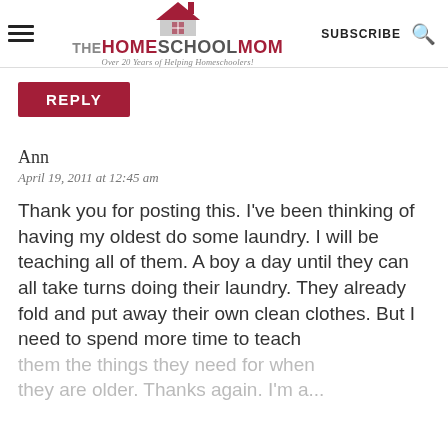THE HOMESCHOOL MOM — Over 20 Years of Helping Homeschoolers! | SUBSCRIBE | [search icon]
REPLY
Ann
April 19, 2011 at 12:45 am
Thank you for posting this. I've been thinking of having my oldest do some laundry. I will be teaching all of them. A boy a day until they can all take turns doing their laundry. They already fold and put away their own clean clothes. But I need to spend more time to teach them the things they need for when they are older. Thanks again. I'm a...